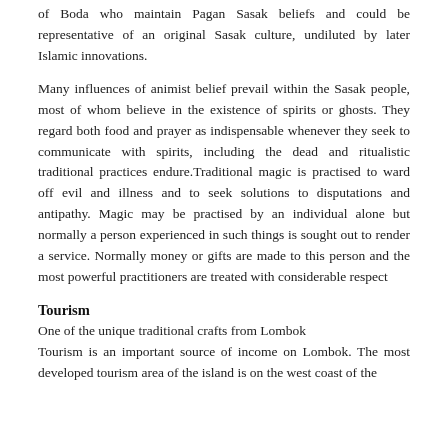of Boda who maintain Pagan Sasak beliefs and could be representative of an original Sasak culture, undiluted by later Islamic innovations.
Many influences of animist belief prevail within the Sasak people, most of whom believe in the existence of spirits or ghosts. They regard both food and prayer as indispensable whenever they seek to communicate with spirits, including the dead and ritualistic traditional practices endure.Traditional magic is practised to ward off evil and illness and to seek solutions to disputations and antipathy. Magic may be practised by an individual alone but normally a person experienced in such things is sought out to render a service. Normally money or gifts are made to this person and the most powerful practitioners are treated with considerable respect
Tourism
One of the unique traditional crafts from Lombok
Tourism is an important source of income on Lombok. The most developed tourism area of the island is on the west coast of the